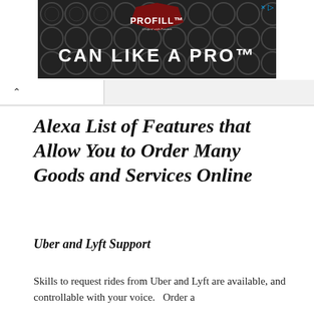[Figure (screenshot): Advertisement banner for PROFILL 'CAN LIKE A PRO' product showing dark background with circular objects (can lids) and a shield-shaped badge with the brand name PROFILL]
Alexa List of Features that Allow You to Order Many Goods and Services Online
Uber and Lyft Support
Skills to request rides from Uber and Lyft are available, and controllable with your voice.   Order a